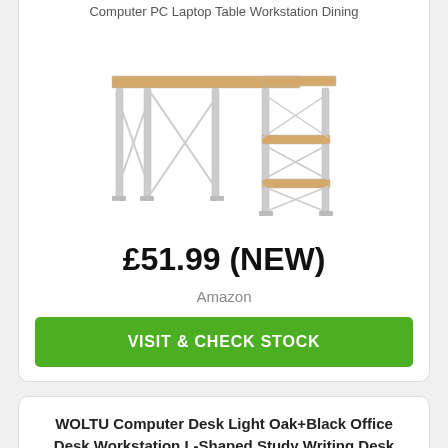Computer PC Laptop Table Workstation Dining
[Figure (photo): L-shaped computer desk with wooden top surface and grey metal frame legs, featuring a side shelf unit with two shelves on the right side]
£51.99 (NEW)
Amazon
VISIT & CHECK STOCK
WOLTU Computer Desk Light Oak+Black Office Desk Workstation L-Shaped Study Writing Desk